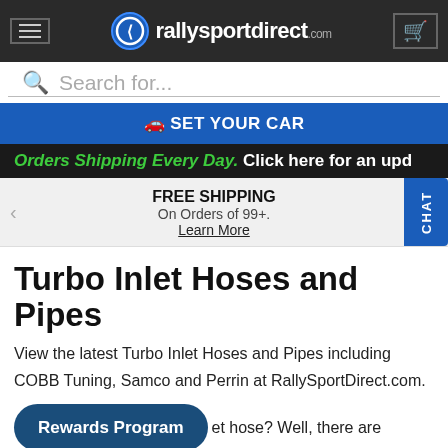[Figure (screenshot): RallySportDirect.com website navigation bar with hamburger menu, logo, and cart icon on dark background]
Search for...
SET YOUR CAR
Orders Shipping Every Day. Click here for an upd
FREE SHIPPING
On Orders of 99+.
Learn More
Turbo Inlet Hoses and Pipes
View the latest Turbo Inlet Hoses and Pipes including COBB Tuning, Samco and Perrin at RallySportDirect.com.
Rewards Program
et hose? Well, there are several reasons depending on your application. For example, if you drive a Subaru